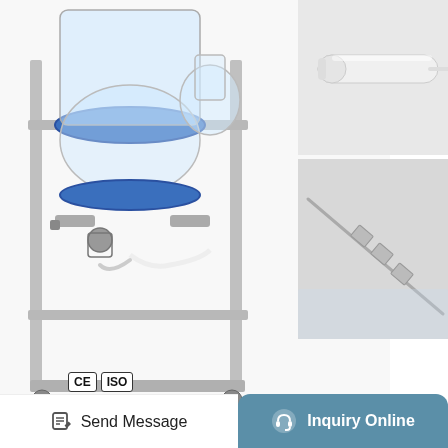[Figure (photo): Laboratory reactor equipment on a stainless steel frame with glass vessels, blue clamps, and valves. CE and ISO certification badges visible at bottom left.]
[Figure (photo): Close-up photo of a white cylindrical rod or stirrer component against a light background.]
[Figure (photo): Close-up photo of a thin rod or probe with rectangular metallic fins or connectors, on a glass or metallic surface.]
Continuous Flow Coupling And Decarboxylation ...
Dec 01, 2016 · Effluent flow rates of ring opening/ring closure and decarboxylation products were measured for both GVL and PEA reactor feeds over a large range of temperatures (421–538 K), feed partial pressures (1–80 mbar), and contact times (1–2000 s). The complete data set
Send Message   Inquiry Online